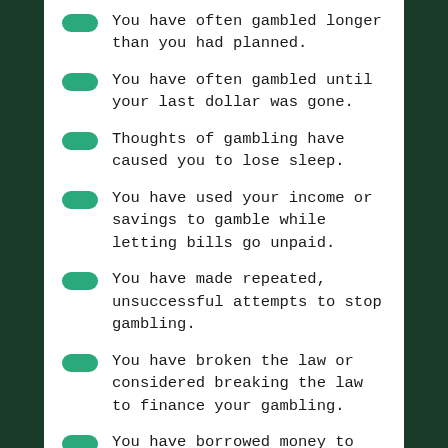You have often gambled longer than you had planned.
You have often gambled until your last dollar was gone.
Thoughts of gambling have caused you to lose sleep.
You have used your income or savings to gamble while letting bills go unpaid.
You have made repeated, unsuccessful attempts to stop gambling.
You have broken the law or considered breaking the law to finance your gambling.
You have borrowed money to finance